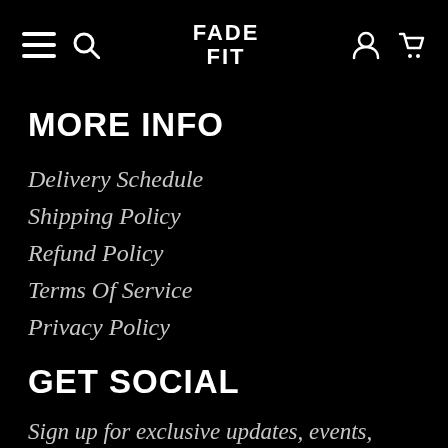FADE FIT — navigation bar with hamburger menu, search, logo, user icon, cart icon
MORE INFO
Delivery Schedule
Shipping Policy
Refund Policy
Terms Of Service
Privacy Policy
GET SOCIAL
Sign up for exclusive updates, events,